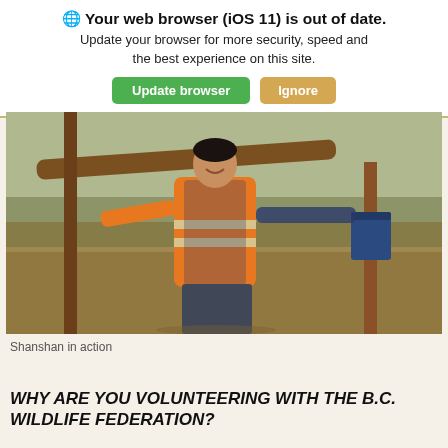🌐 Your web browser (iOS 11) is out of date. Update your browser for more security, speed and the best experience on this site. Update browser | Ignore
[Figure (photo): Person wearing an orange high-visibility vest standing outdoors in a field, smiling, holding a log on her shoulder with one hand and resting the other on a wooden post. A blue bucket hangs from the post. Dry grass and brush in the background.]
Shanshan in action
WHY ARE YOU VOLUNTEERING WITH THE B.C. WILDLIFE FEDERATION?